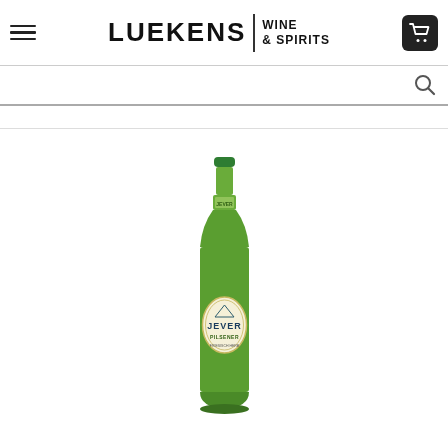Luekens Wine & Spirits
[Figure (photo): Green glass Jever Pilsener beer bottle with green cap and cream/gold oval label showing JEVER PILSENER branding]